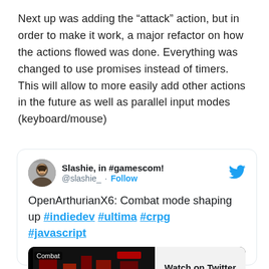Next up was adding the “attack” action, but in order to make it work, a major refactor on how the actions flowed was done. Everything was changed to use promises instead of timers. This will allow to more easily add other actions in the future as well as parallel input modes (keyboard/mouse)
[Figure (screenshot): Embedded tweet from @slashie_ (Slashie, in #gamescom!) saying: OpenArthurianX6: Combat mode shaping up #indiedev #ultima #crpg #javascript, with a Watch on Twitter media embed showing a dark game screenshot labeled Combat]